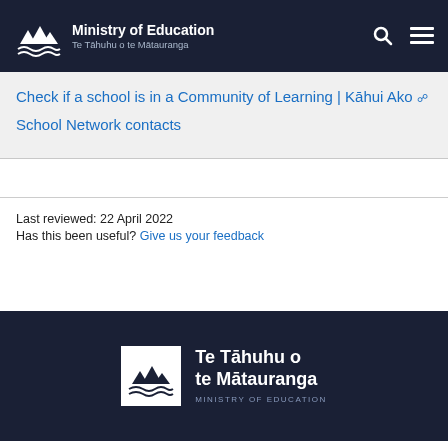Ministry of Education | Te Tāhuhu o te Mātauranga
Check if a school is in a Community of Learning | Kāhui Ako [external link]
School Network contacts
Last reviewed: 22 April 2022
Has this been useful? Give us your feedback
[Figure (logo): Te Tāhuhu o te Mātauranga - Ministry of Education footer logo with mountains and waves icon]